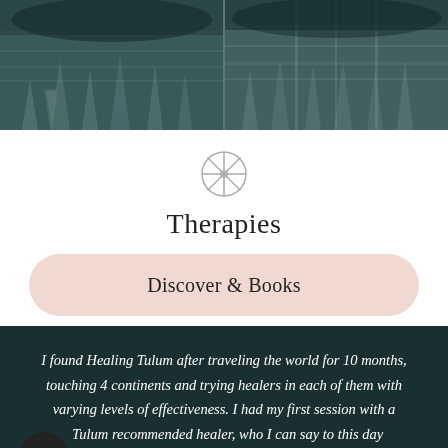[Figure (photo): Two side-by-side dark teal/grey photos showing what appears to be icicles or cave formations with a moody, atmospheric look]
[Figure (illustration): Circular wheel/mandala decorative icon with spokes, in light grey outline style]
Therapies
Discover & Books
I found Healing Tulum after traveling the world for 10 months, touching 4 continents and trying healers in each of them with varying levels of effectiveness. I had my first session with a Tulum recommended healer, who I can say to this day later has changed my life. He is truly gifted. Then gave another healer from the site a try, who again changed my life. I